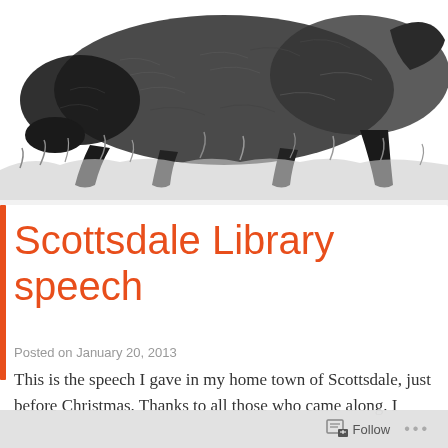[Figure (illustration): Black and white engraving illustration of a large animal (appears to be a badger or similar creature) sniffing or foraging on the ground, rendered in detailed crosshatch style.]
Scottsdale Library speech
Posted on January 20, 2013
This is the speech I gave in my home town of Scottsdale, just before Christmas. Thanks to all those who came along. I
Follow ···